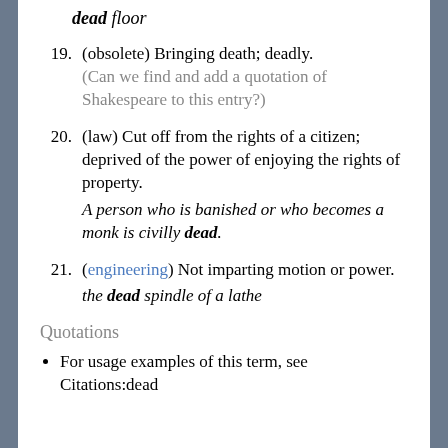a dead floor
19. (obsolete) Bringing death; deadly.
(Can we find and add a quotation of Shakespeare to this entry?)
20. (law) Cut off from the rights of a citizen; deprived of the power of enjoying the rights of property.
A person who is banished or who becomes a monk is civilly dead.
21. (engineering) Not imparting motion or power.
the dead spindle of a lathe
Quotations
For usage examples of this term, see Citations:dead